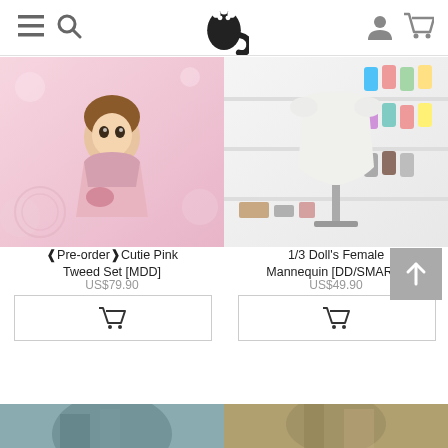Navigation bar with menu, search, logo, user, and cart icons
[Figure (photo): Anime-style doll in pink floral tweed jacket and skirt set]
❰Pre-order❱Cutie Pink Tweed Set [MDD]
US$79.90
[Figure (photo): 1/3 scale female mannequin torso in a doll accessories shop with wigs on display]
1/3 Doll's Female Mannequin [DD/SMART..
US$49.90
[Figure (photo): Partial bottom product image on the left, partially visible]
[Figure (photo): Partial bottom product image on the right, partially visible]